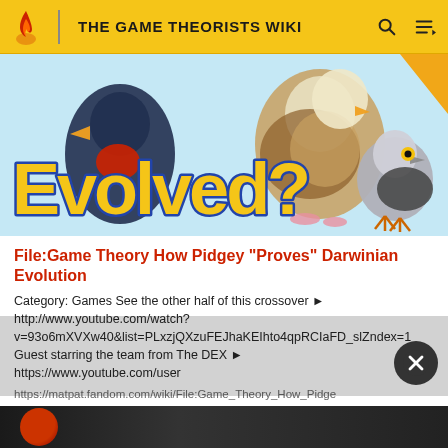THE GAME THEORISTS WIKI
[Figure (illustration): Screenshot from Game Theory video thumbnail showing Pokemon birds (Pidgey, Pidgeot, Pidgeotto) and a real pigeon with large yellow text 'Evolved?' on a light blue background.]
File:Game Theory How Pidgey "Proves" Darwinian Evolution
Category: Games See the other half of this crossover ► http://www.youtube.com/watch?v=93o6mXVXw40&list=PLxzjQXzuFEJhaKEIhto4qpRCIaFD_slZndex=1 Guest starring the team from The DEX ► https://www.youtube.com/user
https://matpat.fandom.com/wiki/File:Game_Theory_How_Pidgey_"Proves"_Darwinian_Evolution